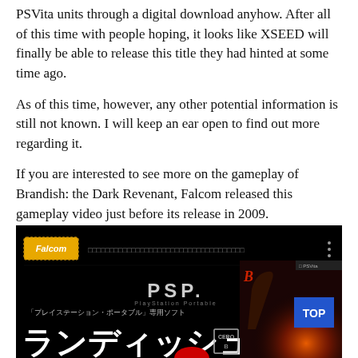PSVita units through a digital download anyhow. After all of this time with people hoping, it looks like XSEED will finally be able to release this title they had hinted at some time ago.
As of this time, however, any other potential information is still not known. I will keep an ear open to find out more regarding it.
If you are interested to see more on the gameplay of Brandish: the Dark Revenant, Falcom released this gameplay video just before its release in 2009.
[Figure (screenshot): Screenshot of a YouTube video showing a Falcom PSP game (Brandish: the Dark Revenant) promotional video. Black background with Falcom logo, Japanese text, PSP logo, large Japanese katakana characters, CERO rating badge, and a game cover image with a TOP button overlay.]